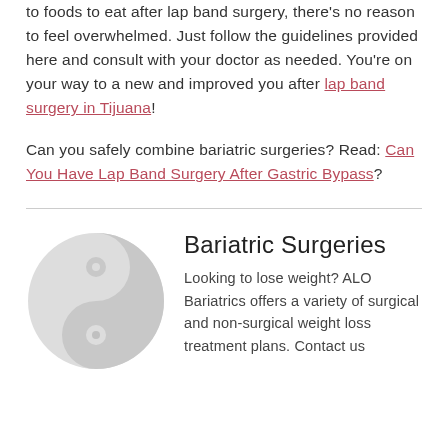to foods to eat after lap band surgery, there's no reason to feel overwhelmed. Just follow the guidelines provided here and consult with your doctor as needed. You're on your way to a new and improved you after lap band surgery in Tijuana!
Can you safely combine bariatric surgeries? Read: Can You Have Lap Band Surgery After Gastric Bypass?
[Figure (logo): Yin-yang style circular logo in light gray]
Bariatric Surgeries
Looking to lose weight? ALO Bariatrics offers a variety of surgical and non-surgical weight loss treatment plans. Contact us